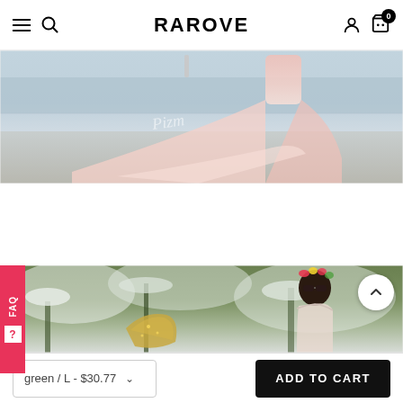RAROVE
[Figure (photo): Product photo of a woman in a long pink flowing gown/dress standing on a beach with ocean in background. Cursive watermark visible on the image.]
[Figure (photo): Product photo of a woman wearing a floral crown and off-shoulder dress standing in front of snow-covered evergreen trees. A golden sequin top/bag is visible in the foreground.]
green / L - $30.77
ADD TO CART